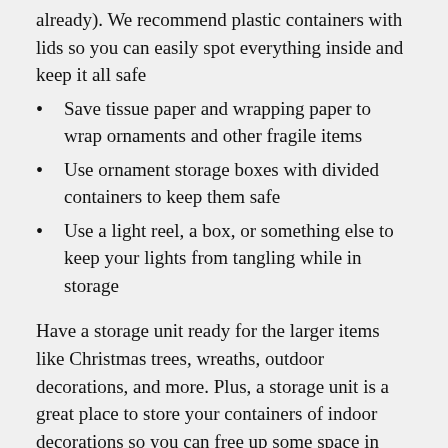already). We recommend plastic containers with lids so you can easily spot everything inside and keep it all safe
Save tissue paper and wrapping paper to wrap ornaments and other fragile items
Use ornament storage boxes with divided containers to keep them safe
Use a light reel, a box, or something else to keep your lights from tangling while in storage
Have a storage unit ready for the larger items like Christmas trees, wreaths, outdoor decorations, and more. Plus, a storage unit is a great place to store your containers of indoor decorations so you can free up some space in your home for everyday items. Check out our locations here to find the one most convenient for you.